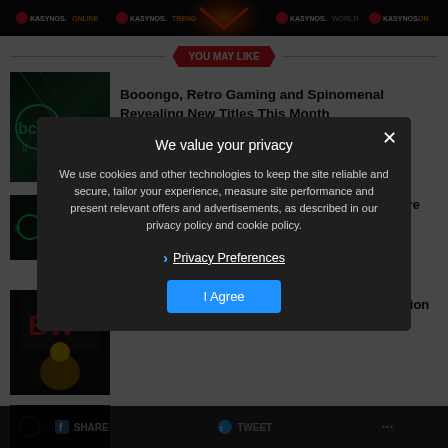[Figure (screenshot): Website banner with multiple Kasynos logos on dark background with neon orange/red chevron icon in center]
YOU MAY LIKE
[Figure (screenshot): Booongo logo on dark green background]
Booongo, Retro Gaming and Spinomenal Revealing New Titles This Month
[Figure (screenshot): Booongo logo on dark background]
Booongo expands portfolio with immersive Buddha Megaways™
[Figure (screenshot): BW logo on dark background]
Booongo's-filled celebration Golden Dancing Lion
[Figure (screenshot): Privacy consent overlay dialog on darkened background]
We value your privacy
We use cookies and other technologies to keep the site reliable and secure, tailor your experience, measure site performance and present relevant offers and advertisements, as described in our privacy policy and cookie policy.
Privacy Preferences
I Agree
SHARE   TWEET   ...